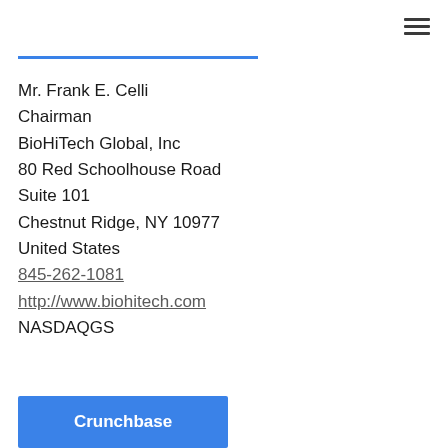[Figure (other): Hamburger menu icon (three horizontal lines) in the top-right corner]
Mr. Frank E. Celli
Chairman
BioHiTech Global, Inc
80 Red Schoolhouse Road
Suite 101
Chestnut Ridge, NY 10977
United States
845-262-1081
http://www.biohitech.com
NASDAQGS
[Figure (other): Blue Crunchbase button at the bottom left of the page]